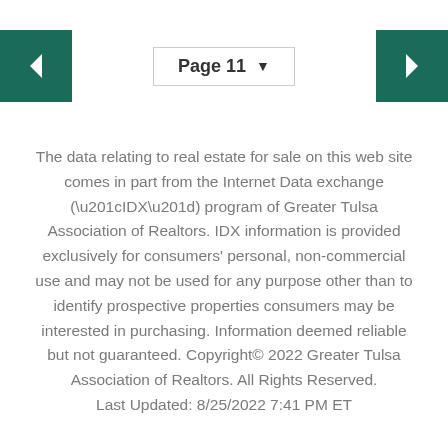Page 11
The data relating to real estate for sale on this web site comes in part from the Internet Data exchange (“IDX”) program of Greater Tulsa Association of Realtors. IDX information is provided exclusively for consumers’ personal, non-commercial use and may not be used for any purpose other than to identify prospective properties consumers may be interested in purchasing. Information deemed reliable but not guaranteed. Copyright© 2022 Greater Tulsa Association of Realtors. All Rights Reserved. Last Updated: 8/25/2022 7:41 PM ET